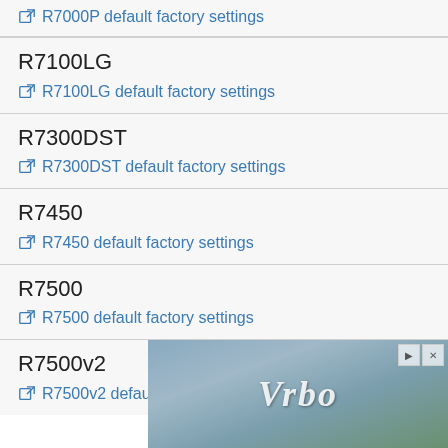R7000P default factory settings
R7100LG
R7100LG default factory settings
R7300DST
R7300DST default factory settings
R7450
R7450 default factory settings
R7500
R7500 default factory settings
R7500v2
R7500v2 default factory settings
[Figure (photo): Vrbo advertisement banner showing a house with large windows, overlaid with the Vrbo logo in white italic text]